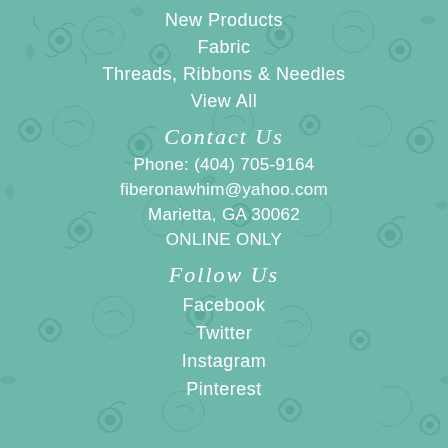New Products
Fabric
Threads, Ribbons & Needles
View All
Contact Us
Phone: (404) 705-9164
fiberonawhim@yahoo.com
Marietta, GA 30062
ONLINE ONLY
Follow Us
Facebook
Twitter
Instagram
Pinterest